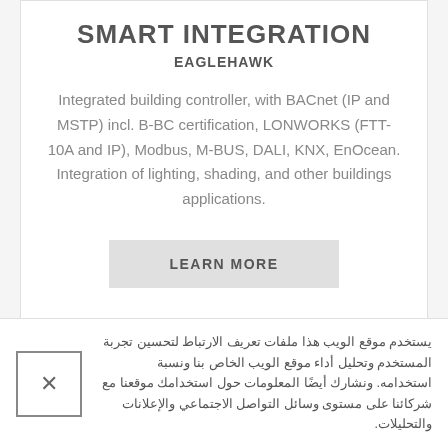SMART INTEGRATION
EAGLEHAWK
Integrated building controller, with BACnet (IP and MSTP) incl. B-BC certification, LONWORKS (FTT-10A and IP), Modbus, M-BUS, DALI, KNX, EnOcean. Integration of lighting, shading, and other buildings applications.
LEARN MORE
يستخدم موقع الويب هذا ملفات تعريف الارتباط لتحسين تجربة المستخدم وتحليل أداء موقع الويب الخاص بنا ونسبة استخدامه. ونشارك أيضًا المعلومات حول استخدامك موقعنا مع شركائنا على مستوى وسائل التواصل الاجتماعي والإعلانات والتحليلات.